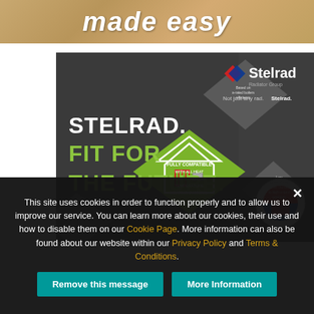[Figure (illustration): Top banner with wood-effect background and 'made easy' italic white text]
[Figure (advertisement): Stelrad radiator advertisement with dark grey background, diamond shapes, 'STELRAD. FIT FOR THE FUTURE.' text in white and green, Stelrad logo, house diagram, and quality badge]
This site uses cookies in order to function properly and to allow us to improve our service. You can learn more about our cookies, their use and how to disable them on our Cookie Page. More information can also be found about our website within our Privacy Policy and Terms & Conditions.
Remove this message
More Information